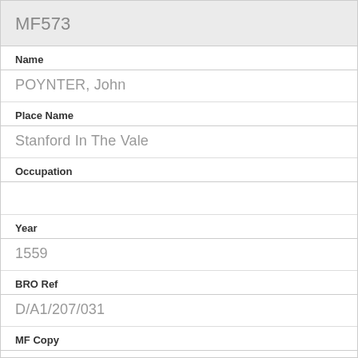MF573
Name
POYNTER, John
Place Name
Stanford In The Vale
Occupation
Year
1559
BRO Ref
D/A1/207/031
MF Copy
MF96077